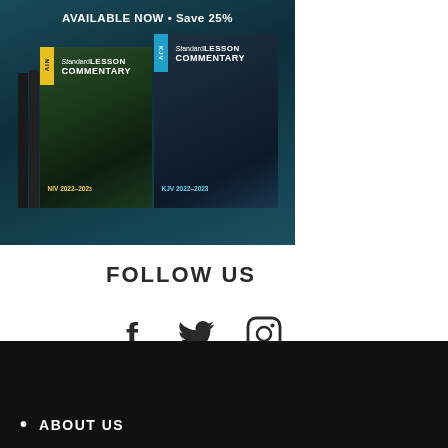[Figure (photo): Advertisement for Standard Lesson Commentary NIV and KJV 2022-2023 editions showing two book covers against a dark teal background with text 'AVAILABLE NOW • Save 25%']
FOLLOW US
[Figure (infographic): Social media icons: Facebook (f), Twitter (bird), Instagram (camera)]
• ABOUT US